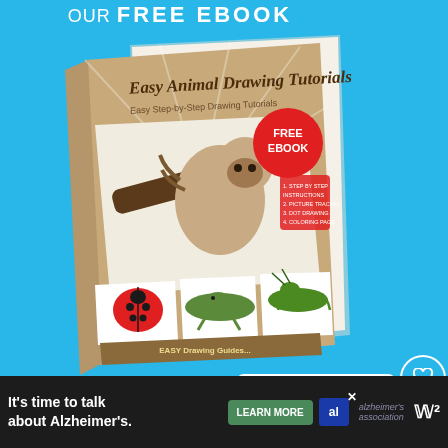OUR FREE EBOOK
[Figure (illustration): Book cover of 'Easy Animal Drawing Tutorials' showing a sloth hanging from a branch, with smaller panels showing a ladybug, lizard, and grasshopper. Red badge reads FREE EBOOK.]
[Figure (infographic): Social media sidebar with heart icon showing likes, number 55, and share icon]
FREE DOWNLOAD:
[Figure (infographic): What's Next box showing a cartoon doll character with text: WHAT'S NEXT → How to Draw a Doll - Really...]
Learn to draw with easy to follow,
[Figure (infographic): Advertisement bar at bottom: It's time to talk about Alzheimer's. LEARN MORE button. Alzheimer's association logo.]